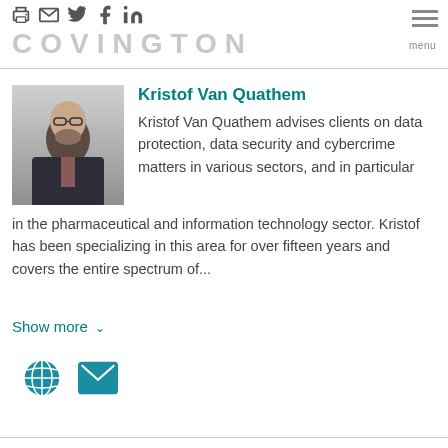COVINGTON
Kristof Van Quathem
Kristof Van Quathem advises clients on data protection, data security and cybercrime matters in various sectors, and in particular in the pharmaceutical and information technology sector. Kristof has been specializing in this area for over fifteen years and covers the entire spectrum of...
Show more
[Figure (other): Globe icon and email envelope icon links]